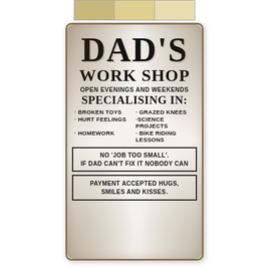[Figure (photo): Small thumbnail strip at top showing a document or sign in smaller view]
[Figure (photo): Vintage distressed metal sign reading DAD'S WORK SHOP with list of specialties and payment info]